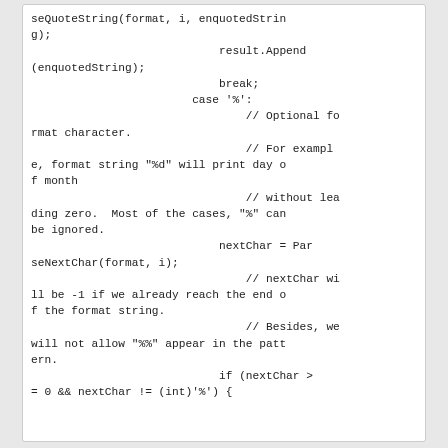seQuoteString(format, i, enquotedString);
                            result.Append(enquotedString);
                            break;
                        case '%':
                                // Optional format character.
                                // For example, format string "%d" will print day of month
                                // without leading zero.  Most of the cases, "%" can be ignored.
                            nextChar = ParseNextChar(format, i);
                                // nextChar will be -1 if we already reach the end of the format string.
                                // Besides, we will not allow "%%" appear in the pattern.
                            if (nextChar >= 0 && nextChar != (int)'%') {